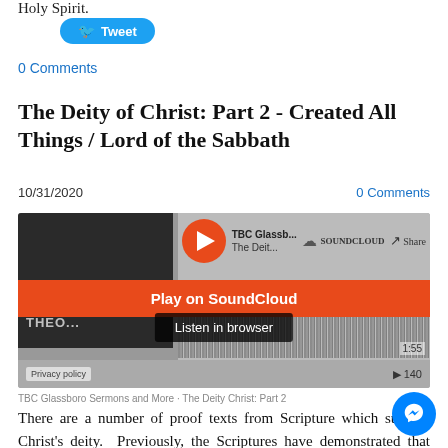Holy Spirit.
[Figure (other): Twitter Tweet button (blue pill-shaped button with bird icon and 'Tweet' text)]
0 Comments
The Deity of Christ: Part 2 - Created All Things / Lord of the Sabbath
10/31/2020    0 Comments
[Figure (screenshot): SoundCloud embedded audio player showing 'TBC Glassb...' and 'The Deit...' with play button, waveform, 'Play on SoundCloud' orange overlay button, 'Listen in browser' dark overlay, timestamp 1:55, duration 140, and Privacy policy link]
TBC Glassboro Sermons and More · The Deity Christ: Part 2
There are a number of proof texts from Scripture which support Christ's deity.  Previously, the Scriptures have demonstrated that Christ descended
[Figure (logo): Facebook Messenger blue circular chat icon button]